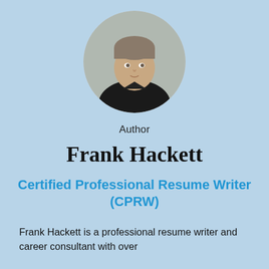[Figure (photo): Circular headshot photo of Frank Hackett, a young man wearing a dark shirt against a neutral background]
Author
Frank Hackett
Certified Professional Resume Writer (CPRW)
Frank Hackett is a professional resume writer and career consultant with over